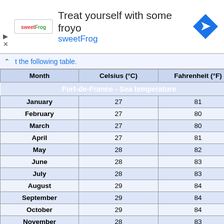[Figure (other): Advertisement banner for sweetFrog frozen yogurt with logo, text 'Treat yourself with some froyo sweetFrog', and a blue diamond navigation icon]
the following table.
| Month | Celsius (°C) | Fahrenheit (°F) |
| --- | --- | --- |
| January | 27 | 81 |
| February | 27 | 80 |
| March | 27 | 80 |
| April | 27 | 81 |
| May | 28 | 82 |
| June | 28 | 83 |
| July | 28 | 83 |
| August | 29 | 84 |
| September | 29 | 84 |
| October | 29 | 84 |
| November | 28 | 83 |
| December | 28 | 82 |
| Year | 27.9 | 82.2 |